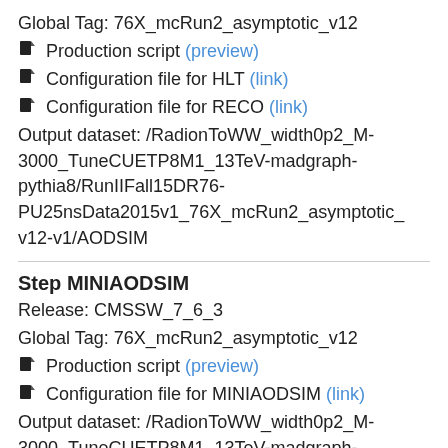Global Tag: 76X_mcRun2_asymptotic_v12
Production script (preview)
Configuration file for HLT (link)
Configuration file for RECO (link)
Output dataset: /RadionToWW_width0p2_M-3000_TuneCUETP8M1_13TeV-madgraph-pythia8/RunIIFall15DR76-PU25nsData2015v1_76X_mcRun2_asymptotic_v12-v1/AODSIM
Step MINIAODSIM
Release: CMSSW_7_6_3
Global Tag: 76X_mcRun2_asymptotic_v12
Production script (preview)
Configuration file for MINIAODSIM (link)
Output dataset: /RadionToWW_width0p2_M-3000_TuneCUETP8M1_13TeV-madgraph-pythia8/RunIIFall15MiniAODv2-PU25nsData2015v1_76X_mcRun2_asymptotic